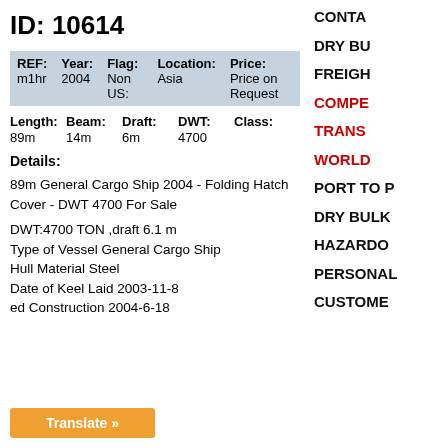ID: 10614
| REF: | Year: | Flag: | Location: | Price: |
| --- | --- | --- | --- | --- |
| m1hr | 2004 | Non US: | Asia | Price on Request |
Length: 89m   Beam: 14m   Draft: 6m   DWT: 4700   Class:
Details:
89m General Cargo Ship 2004 - Folding Hatch Cover - DWT 4700 For Sale
DWT:4700 TON ,draft 6.1 m
Type of Vessel General Cargo Ship
Hull Material Steel
Date of Keel Laid 2003-11-8
...ed Construction 2004-6-18
CONTA
DRY BU
FREIGH
COMPE
TRANS
WORLD
PORT TO P
DRY BULK
HAZARDO
PERSONAL
CUSTOME
Translate »